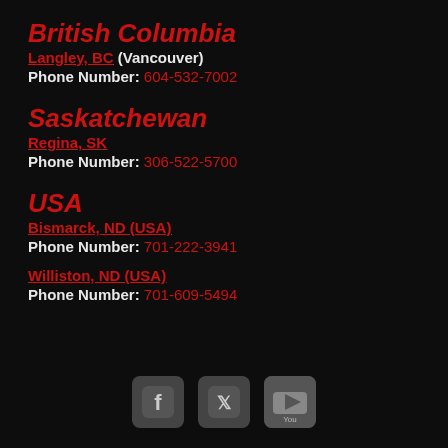British Columbia
Langley, BC (Vancouver)
Phone Number: 604-532-7002
Saskatchewan
Regina, SK
Phone Number: 306-522-5700
USA
Bismarck, ND (USA)
Phone Number: 701-222-3941
Williston, ND (USA)
Phone Number: 701-609-5494
[Figure (illustration): Social media icons: Facebook, Twitter, YouTube]